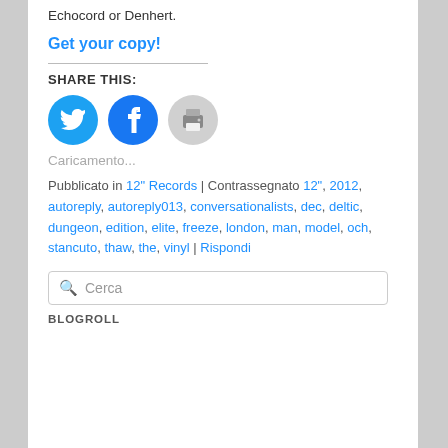Echocord or Denhert.
Get your copy!
[Figure (infographic): Share icons: Twitter (blue circle), Facebook (blue circle), Print (grey circle)]
Caricamento...
Pubblicato in 12" Records | Contrassegnato 12", 2012, autoreply, autoreply013, conversationalists, dec, deltic, dungeon, edition, elite, freeze, london, man, model, och, stancuto, thaw, the, vinyl | Rispondi
Cerca
BLOGROLL